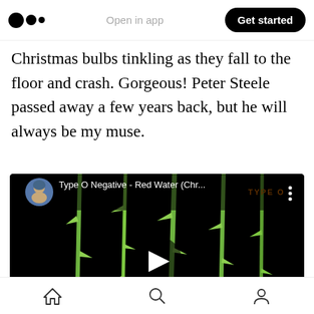Medium logo | Open in app | Get started
Christmas bulbs tinkling as they fall to the floor and crash. Gorgeous! Peter Steele passed away a few years back, but he will always be my muse.
[Figure (screenshot): YouTube video embed showing Type O Negative - Red Water (Chr... with play button, thumbnail of green thorny stems on black background, with text overlays: TYPE O NEGATIVE, RUST, OCTOBER]
Home | Search | Profile navigation icons